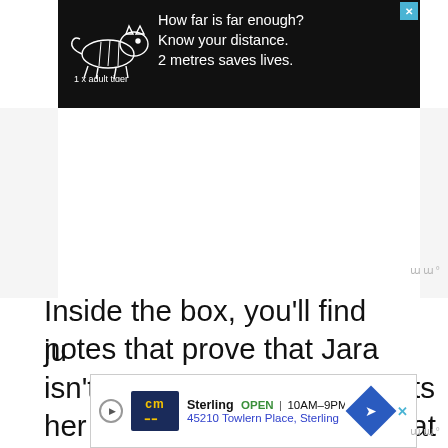[Figure (screenshot): Black advertisement banner with outline drawing of a tiger and text: '1 x adult tiger  How far is far enough? Know your distance. 2 metres saves lives.' with a blue close X button in top right.]
Inside the box, you’ll find notes that prove that Jara isn’t the traitor Kaius suspects her to be. It would appear that Jara and Kaius were looking for the same traitor. They were ju
[Figure (screenshot): Bottom advertisement bar: CM logo, Sterling, OPEN 10AM-9PM, 45210 Towlern Place, Sterling, with navigation arrow icon.]